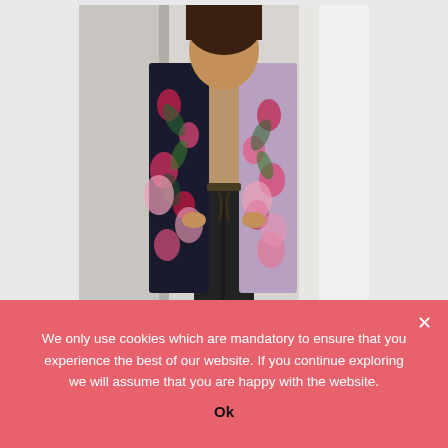[Figure (photo): A person wearing a floral/botanical print kimono duster jacket over a tan top and dark pants, standing in front of a white wall.]
A duster can be the prettiest thing that you can own in your wardrobe. A pretty printed duster can go with every outfit and attire. Wearing a duster with any outfit can
We only use cookies which are mandatory to ensure that you experience the best of our website. If you continue exploring we will assume that you are happy with the website.
Ok